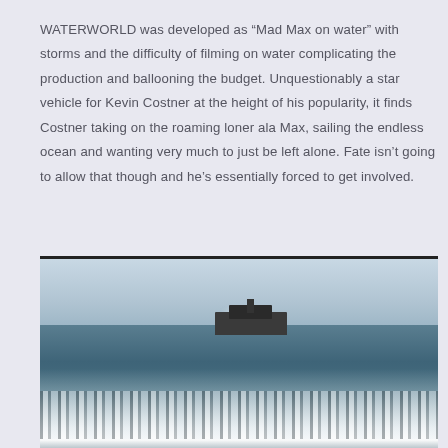WATERWORLD was developed as “Mad Max on water” with storms and the difficulty of filming on water complicating the production and ballooning the budget. Unquestionably a star vehicle for Kevin Costner at the height of his popularity, it finds Costner taking on the roaming loner ala Max, sailing the endless ocean and wanting very much to just be left alone. Fate isn’t going to allow that though and he’s essentially forced to get involved.
[Figure (photo): Scene from Waterworld showing a large vessel/ship on the ocean horizon with jet ski riders creating spray in the foreground, viewed from water level]